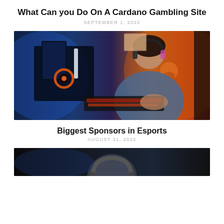What Can you Do On A Cardano Gambling Site
SEPTEMBER 1, 2022
[Figure (photo): Woman wearing headphones sitting at a gaming PC setup with RGB lighting in a dark room with blue and orange ambient lighting]
Biggest Sponsors in Esports
AUGUST 31, 2022
[Figure (photo): Partial view of a person in a dark esports/gaming setting, bottom portion of image visible]